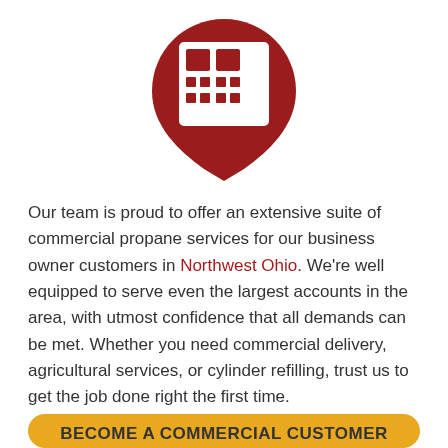[Figure (logo): Dark red location pin icon with a building/grid symbol inside, pointing downward]
Our team is proud to offer an extensive suite of commercial propane services for our business owner customers in Northwest Ohio. We're well equipped to serve even the largest accounts in the area, with utmost confidence that all demands can be met. Whether you need commercial delivery, agricultural services, or cylinder refilling, trust us to get the job done right the first time.
BECOME A COMMERCIAL CUSTOMER